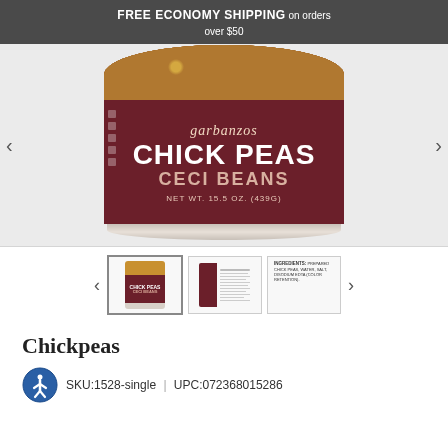FREE ECONOMY SHIPPING on orders over $50
[Figure (photo): Can of Chick Peas / Ceci Beans, garbanzos label, NET WT. 15.5 OZ. (439g), dark maroon label]
[Figure (photo): Thumbnail 1: front of Chick Peas can]
[Figure (photo): Thumbnail 2: side/nutrition panel of can]
[Figure (photo): Thumbnail 3: ingredients panel - INGREDIENTS: PREPARED CHICK PEAS, WATER, SALT, DISODIUM EDTA (COLOR RETENTION).]
Chickpeas
SKU:1528-single | UPC:072368015286